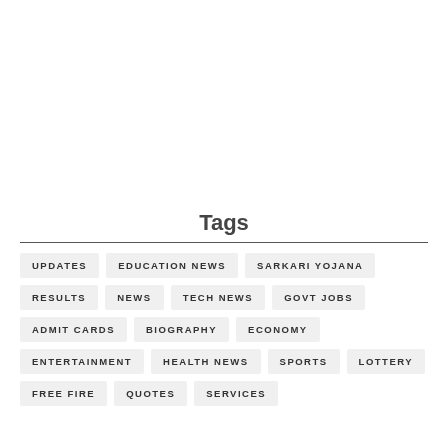Tags
UPDATES
EDUCATION NEWS
SARKARI YOJANA
RESULTS
NEWS
TECH NEWS
GOVT JOBS
ADMIT CARDS
BIOGRAPHY
ECONOMY
ENTERTAINMENT
HEALTH NEWS
SPORTS
LOTTERY
FREE FIRE
QUOTES
SERVICES